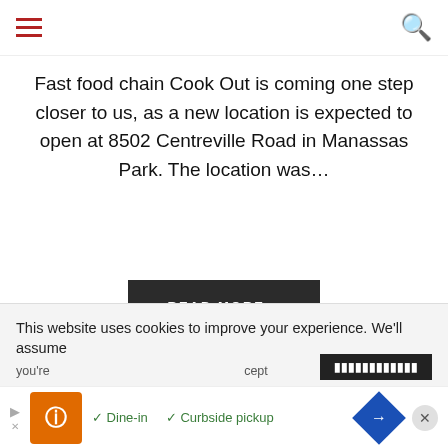[hamburger menu] [search icon]
Fast food chain Cook Out is coming one step closer to us, as a new location is expected to open at 8502 Centreville Road in Manassas Park. The location was…
READ MORE »
[heart] [facebook] [twitter] [pinterest] [email]
This website uses cookies to improve your experience. We'll assume you're... ...cept
[Figure (screenshot): Advertisement banner at bottom with orange logo, Dine-in and Curbside pickup checkmarks, blue arrow icon, and close button]